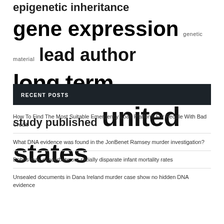epigenetic inheritance gene expression genetic material lead author long term play role public health study published united states
RECENT POSTS
How To Find The Most Suitable Emergency Loan Platform For People With Bad Credit
What DNA evidence was found in the JonBenet Ramsey murder investigation?
Dobbs may exacerbate our racially disparate infant mortality rates
Unsealed documents in Dana Ireland murder case show no hidden DNA evidence